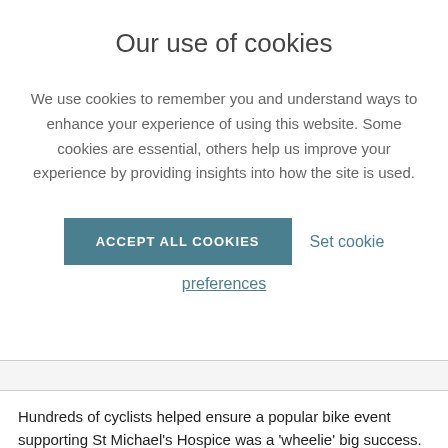Our use of cookies
We use cookies to remember you and understand ways to enhance your experience of using this website. Some cookies are essential, others help us improve your experience by providing insights into how the site is used.
ACCEPT ALL COOKIES
Set cookie preferences
Hundreds of cyclists helped ensure a popular bike event supporting St Michael's Hospice was a 'wheelie' big success.
Almost 700 cyclists ranging from club enthusiasts to leisure riders and families tackled the annual Wheelie Big